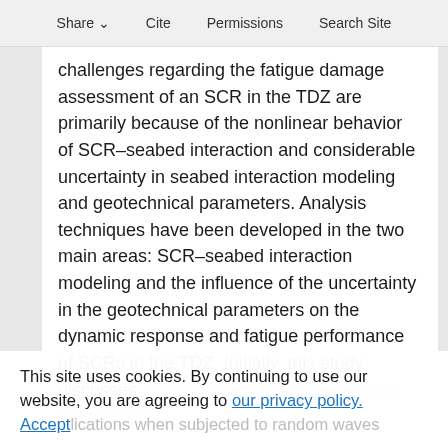Share  Cite  Permissions  Search Site
challenges regarding the fatigue damage assessment of an SCR in the TDZ are primarily because of the nonlinear behavior of SCR–seabed interaction and considerable uncertainty in seabed interaction modeling and geotechnical parameters. Analysis techniques have been developed in the two main areas: SCR–seabed interaction modeling and the influence of the uncertainty in the geotechnical parameters on the dynamic response and fatigue performance of SCRs in the TDZ. Initially, this study discusses the significance of SCR–seabed interaction on … when subjected to random waves
This site uses cookies. By continuing to use our website, you are agreeing to our privacy policy. Accept